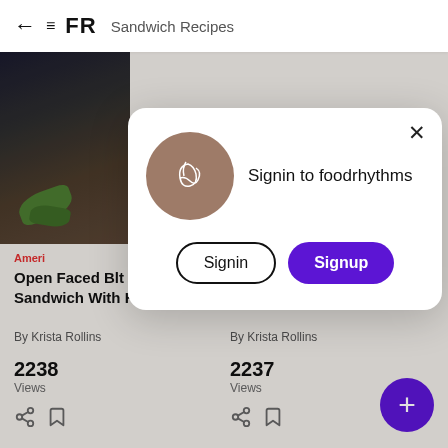← ≡ FR  Sandwich Recipes
[Figure (screenshot): Food recipe app screenshot showing modal dialog with Signin/Signup options over a recipe listing page with sandwich recipes]
Signin to foodrhythms
Signin
Signup
Ameri
Open Faced Blt Sandwich With Harissa
The Ultimate Avocado Blt With Harissa Mayo
By Krista Rollins
By Krista Rollins
2238
Views
2237
Views